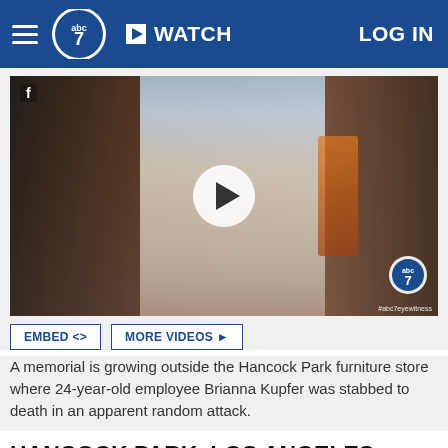abc7 WATCH LOG IN
[Figure (screenshot): Video thumbnail showing a young woman with long brown hair seated at a table, with a play button overlay. ABC7 watermark and #abc7eyewitness text in bottom right corner.]
A memorial is growing outside the Hancock Park furniture store where 24-year-old employee Brianna Kupfer was stabbed to death in an apparent random attack.
HANCOCK PARK, LOS ANGELES (KABC) -- John